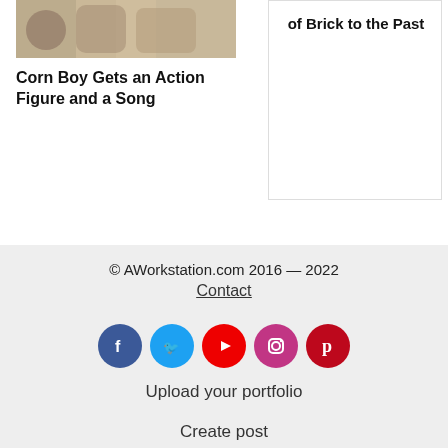[Figure (photo): Group photo of people, partially visible at top of left card]
Corn Boy Gets an Action Figure and a Song
of Brick to the Past
[Figure (photo): Tattoo image of a sleeping bear/panda character in dotwork style]
Nicolás De Jesús: A
© AWorkstation.com 2016 — 2022
Contact
Upload your portfolio
Create post